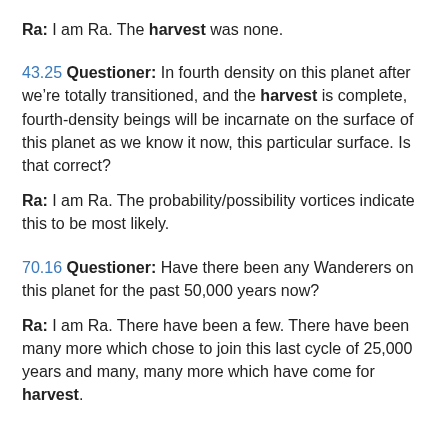Ra: I am Ra. The harvest was none.
43.25 Questioner: In fourth density on this planet after we’re totally transitioned, and the harvest is complete, fourth-density beings will be incarnate on the surface of this planet as we know it now, this particular surface. Is that correct?
Ra: I am Ra. The probability/possibility vortices indicate this to be most likely.
70.16 Questioner: Have there been any Wanderers on this planet for the past 50,000 years now?
Ra: I am Ra. There have been a few. There have been many more which chose to join this last cycle of 25,000 years and many, many more which have come for harvest.